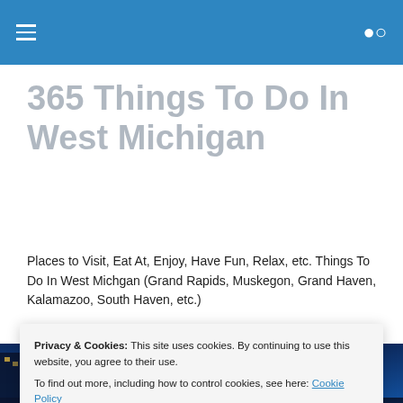[Navigation bar with hamburger menu and search icon]
365 Things To Do In West Michigan
Places to Visit, Eat At, Enjoy, Have Fun, Relax, etc. Things To Do In West Michgan (Grand Rapids, Muskegon, Grand Haven, Kalamazoo, South Haven, etc.)
[Figure (photo): Nighttime cityscape photo showing a bridge with lights and waterfront, likely Grand Rapids or a West Michigan city]
Privacy & Cookies: This site uses cookies. By continuing to use this website, you agree to their use.
To find out more, including how to control cookies, see here: Cookie Policy
Close and accept
Street Party